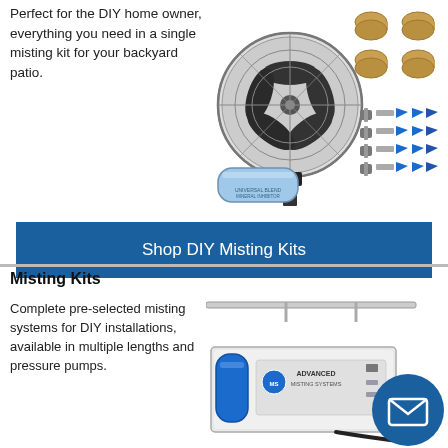Perfect for the DIY home owner, everything you need in a single misting kit for your backyard patio.
[Figure (photo): A wall-mounted misting fan with black blades, alongside misting kit components including brass fittings, clamps, nozzles, screws, and a water filter cartridge.]
Shop DIY Misting Kits
Misting Kits
Complete pre-selected misting systems for DIY installations, available in multiple lengths and pressure pumps.
[Figure (photo): An Advanced Misting Systems pump unit with blue water filter, connected to a misting line, shown with stainless tubing above it. A blue circular email/contact button is overlaid in the bottom right.]